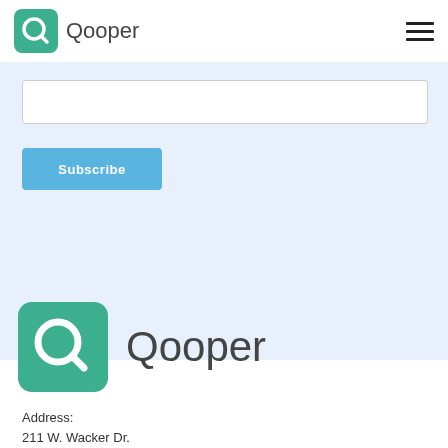Qooper
[Figure (screenshot): Input field (text box) for email subscription]
Subscribe
[Figure (logo): Qooper logo - green rounded square with Q icon and Qooper text]
Address:
211 W. Wacker Dr.